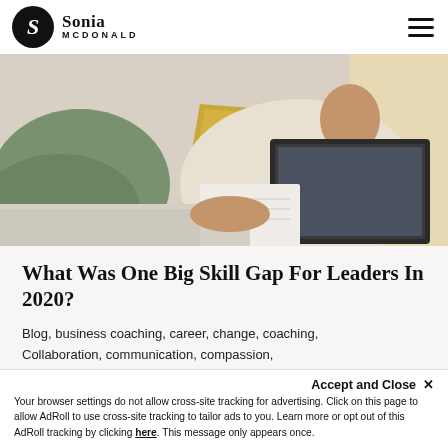Sonia McDonald
[Figure (photo): Person sitting on a couch or bed, wearing a cream cardigan, working on a laptop and writing in a notebook, with green and yellow pillows behind them.]
What Was One Big Skill Gap For Leaders In 2020?
Blog, business coaching, career, change, coaching, Collaboration, communication, compassion, connection, coronavirus, courage, covid, culture
Accept and Close ✕
Your browser settings do not allow cross-site tracking for advertising. Click on this page to allow AdRoll to use cross-site tracking to tailor ads to you. Learn more or opt out of this AdRoll tracking by clicking here. This message only appears once.